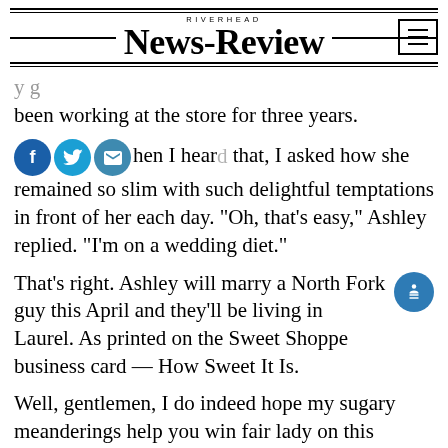RIVERHEAD NEWS-REVIEW
been working at the store for three years. When I heard that, I asked how she remained so slim with such delightful temptations in front of her each day. "Oh, that's easy," Ashley replied. "I'm on a wedding diet."
That's right. Ashley will marry a North Fork guy this April and they'll be living in Laurel. As printed on the Sweet Shoppe business card — How Sweet It Is.
Well, gentlemen, I do indeed hope my sugary meanderings help you win fair lady on this Valentine's Day. Though I realize most North Fork men, while romantic at times, are more often realistic and practical. If